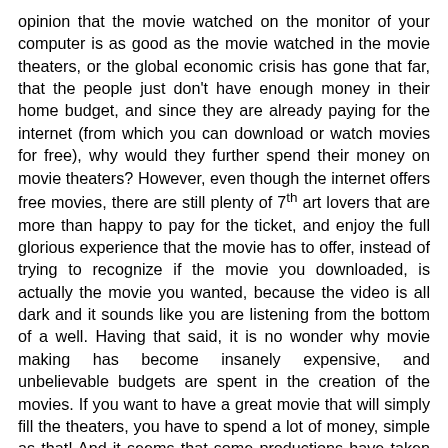opinion that the movie watched on the monitor of your computer is as good as the movie watched in the movie theaters, or the global economic crisis has gone that far, that the people just don't have enough money in their home budget, and since they are already paying for the internet (from which you can download or watch movies for free), why would they further spend their money on movie theaters? However, even though the internet offers free movies, there are still plenty of 7th art lovers that are more than happy to pay for the ticket, and enjoy the full glorious experience that the movie has to offer, instead of trying to recognize if the movie you downloaded, is actually the movie you wanted, because the video is all dark and it sounds like you are listening from the bottom of a well. Having that said, it is no wonder why movie making has become insanely expensive, and unbelievable budgets are spent in the creation of the movies. If you want to have a great movie that will simply fill the theaters, you have to spend a lot of money, simple as that! And it seems that some productions have taken this really seriously, because the movies you are about to see in our list of Top 10 Most Expensive Movies of All Time, break all the records as far as the budget goes.
10. Pirates of the Caribbean